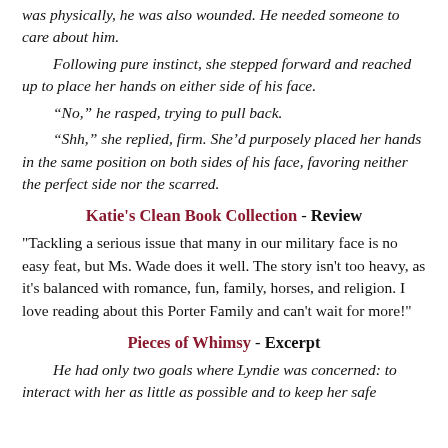was physically, he was also wounded. He needed someone to care about him.
Following pure instinct, she stepped forward and reached up to place her hands on either side of his face.
“No,” he rasped, trying to pull back.
“Shh,” she replied, firm. She’d purposely placed her hands in the same position on both sides of his face, favoring neither the perfect side nor the scarred.
Katie's Clean Book Collection - Review
"Tackling a serious issue that many in our military face is no easy feat, but Ms. Wade does it well. The story isn't too heavy, as it's balanced with romance, fun, family, horses, and religion. I love reading about this Porter Family and can't wait for more!"
Pieces of Whimsy - Excerpt
He had only two goals where Lyndie was concerned: to interact with her as little as possible and to keep her safe